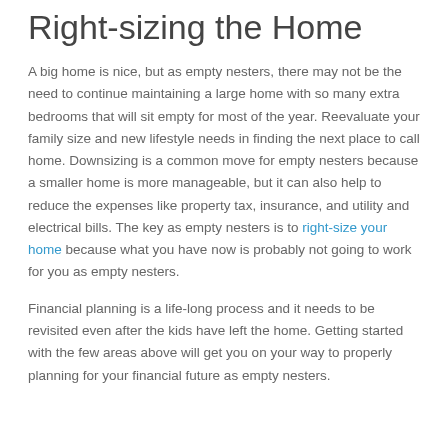Right-sizing the Home
A big home is nice, but as empty nesters, there may not be the need to continue maintaining a large home with so many extra bedrooms that will sit empty for most of the year. Reevaluate your family size and new lifestyle needs in finding the next place to call home. Downsizing is a common move for empty nesters because a smaller home is more manageable, but it can also help to reduce the expenses like property tax, insurance, and utility and electrical bills. The key as empty nesters is to right-size your home because what you have now is probably not going to work for you as empty nesters.
Financial planning is a life-long process and it needs to be revisited even after the kids have left the home. Getting started with the few areas above will get you on your way to properly planning for your financial future as empty nesters.